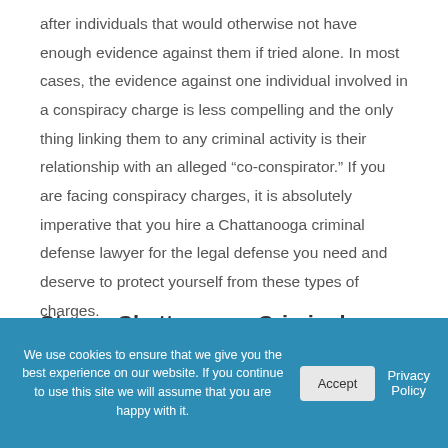after individuals that would otherwise not have enough evidence against them if tried alone. In most cases, the evidence against one individual involved in a conspiracy charge is less compelling and the only thing linking them to any criminal activity is their relationship with an alleged “co-conspirator.” If you are facing conspiracy charges, it is absolutely imperative that you hire a Chattanooga criminal defense lawyer for the legal defense you need and deserve to protect yourself from these types of charges.
Strong Chattanooga Criminal Defense Attorneys
We use cookies to ensure that we give you the best experience on our website. If you continue to use this site we will assume that you are happy with it.